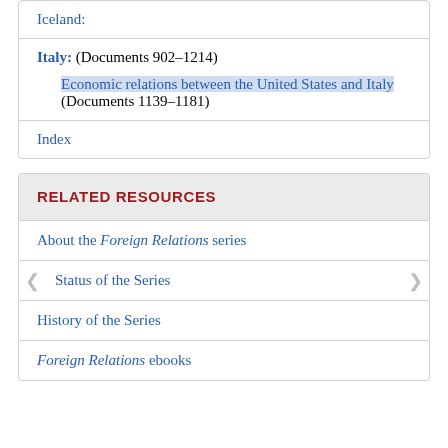Iceland:
Italy: (Documents 902–1214)

Economic relations between the United States and Italy (Documents 1139–1181)
Index
RELATED RESOURCES
About the Foreign Relations series
Status of the Series
History of the Series
Foreign Relations ebooks